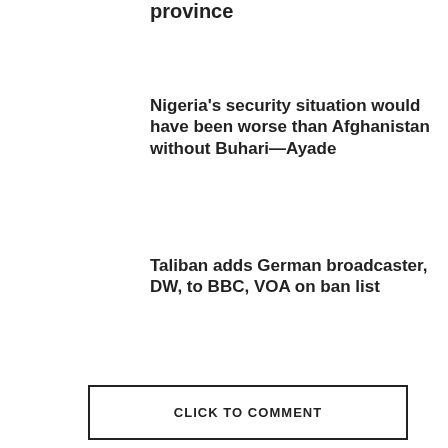province
Nigeria's security situation would have been worse than Afghanistan without Buhari—Ayade
Taliban adds German broadcaster, DW, to BBC, VOA on ban list
CLICK TO COMMENT